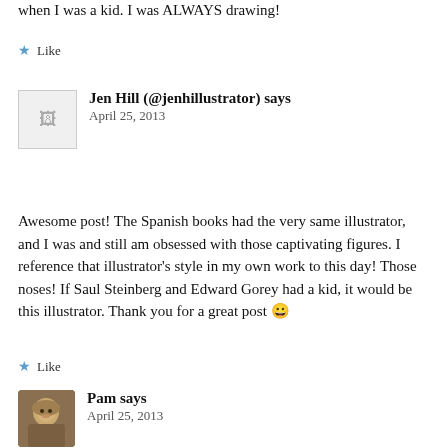when I was a kid. I was ALWAYS drawing!
★ Like
Jen Hill (@jenhillustrator) says
April 25, 2013
Awesome post! The Spanish books had the very same illustrator, and I was and still am obsessed with those captivating figures. I reference that illustrator's style in my own work to this day! Those noses! If Saul Steinberg and Edward Gorey had a kid, it would be this illustrator. Thank you for a great post 😀
★ Like
Pam says
April 25, 2013